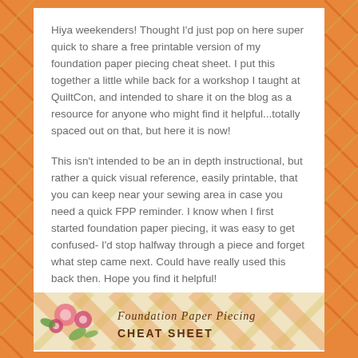Hiya weekenders!  Thought I'd just pop on here super quick to share a free printable version of my foundation paper piecing cheat sheet.  I put this together a little while back for a workshop I taught at QuiltCon, and intended to share it on the blog as a resource for anyone who might find it helpful...totally spaced out on that, but here it is now!
This isn't intended to be an in depth instructional, but rather a quick visual reference, easily printable, that you can keep near your sewing area in case you need a quick FPP reminder.  I know when I first started foundation paper piecing, it was easy to get confused- I'd stop halfway through a piece and forget what step came next.  Could have really used this back then.  Hope you find it helpful!
Just click the image to open the printable PDF.
[Figure (illustration): Preview of the Foundation Paper Piecing Cheat Sheet with decorative flowers on the left and the title text 'Foundation Paper Piecing CHEAT SHEET' on an orange plaid background.]